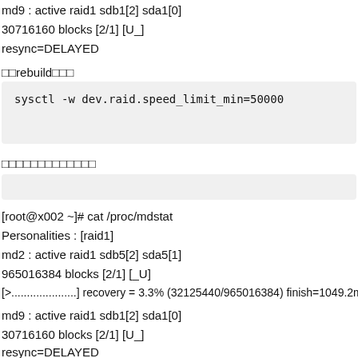md9 : active raid1 sdb1[2] sda1[0]
30716160 blocks [2/1] [U_]
resync=DELAYED
□□rebuild□□□
[Figure (screenshot): Code block with command: sysctl -w dev.raid.speed_limit_min=50000]
□□□□□□□□□□□□□
[Figure (screenshot): Empty code block]
[root@x002 ~]# cat /proc/mdstat
Personalities : [raid1]
md2 : active raid1 sdb5[2] sda5[1]
965016384 blocks [2/1] [_U]
[>.....................] recovery = 3.3% (32125440/965016384) finish=1049.2min spe
md9 : active raid1 sdb1[2] sda1[0]
30716160 blocks [2/1] [U_]
resync=DELAYED
unused devices: